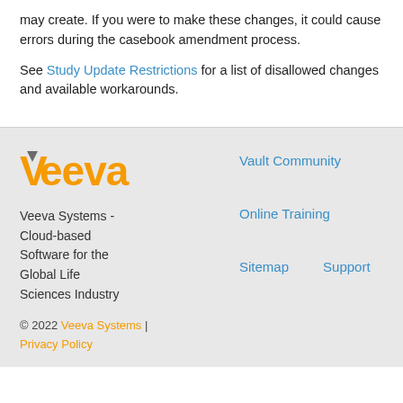may create. If you were to make these changes, it could cause errors during the casebook amendment process.
See Study Update Restrictions for a list of disallowed changes and available workarounds.
[Figure (logo): Veeva logo with orange text and gray V chevron]
Veeva Systems - Cloud-based Software for the Global Life Sciences Industry
© 2022 Veeva Systems | Privacy Policy
Vault Community
Online Training
Sitemap   Support